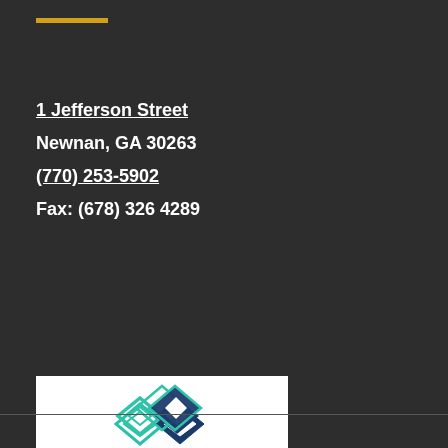1 Jefferson Street
Newnan, GA 30263
(770) 253-5902
Fax: (678) 326 4289
[Figure (logo): Expertise.com badge — Best Bankruptcy Attorneys in Atlanta 2022, with teal laurel wreath and diamond logo]